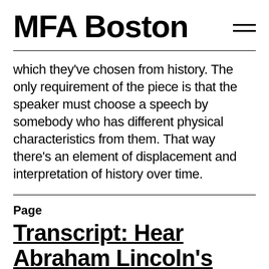MFABoston
which they've chosen from history. The only requirement of the piece is that the speaker must choose a speech by somebody who has different physical characteristics from them. That way there's an element of displacement and interpretation of history over time.
Page
Transcript: Hear Abraham Lincoln's Gettysburg Address